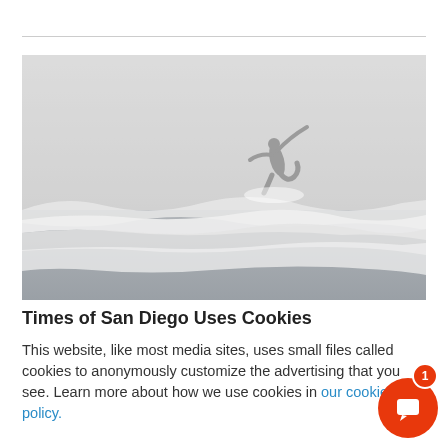[Figure (photo): A surfer mid-air catching a wave in misty, foggy ocean conditions. The image is predominantly light grey and white tones, showing ocean waves and spray with the surfer silhouetted against a hazy sky.]
Times of San Diego Uses Cookies
This website, like most media sites, uses small files called cookies to anonymously customize the advertising that you see. Learn more about how we use cookies in our cookie policy.